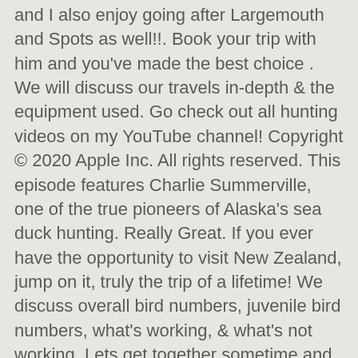and I also enjoy going after Largemouth and Spots as well!!. Book your trip with him and you've made the best choice . We will discuss our travels in-depth & the equipment used. Go check out all hunting videos on my YouTube channel! Copyright © 2020 Apple Inc. All rights reserved. This episode features Charlie Summerville, one of the true pioneers of Alaska's sea duck hunting. Really Great. If you ever have the opportunity to visit New Zealand, jump on it, truly the trip of a lifetime! We discuss overall bird numbers, juvenile bird numbers, what's working, & what's not working. Lets get together sometime and go fishing!!! We will bring guests on the show from around the world to talk about how they utilize their Dive Bombs & the things that have helped them become more successful. There is a VERY POWERFUL and POPULAR company out there who now lets you try their website traffic service for 7 days free of charge. For the past 9 years, I have strictly dedicate my